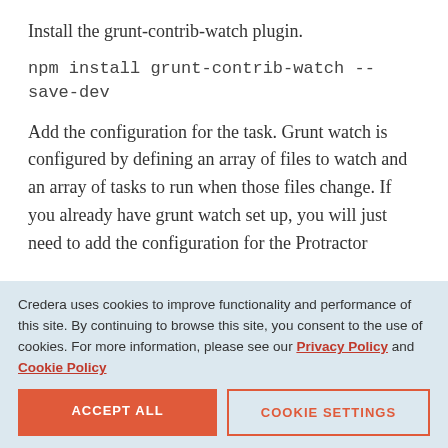Install the grunt-contrib-watch plugin.
npm install grunt-contrib-watch --save-dev
Add the configuration for the task. Grunt watch is configured by defining an array of files to watch and an array of tasks to run when those files change. If you already have grunt watch set up, you will just need to add the configuration for the Protractor
Credera uses cookies to improve functionality and performance of this site. By continuing to browse this site, you consent to the use of cookies. For more information, please see our Privacy Policy and Cookie Policy
ACCEPT ALL
COOKIE SETTINGS